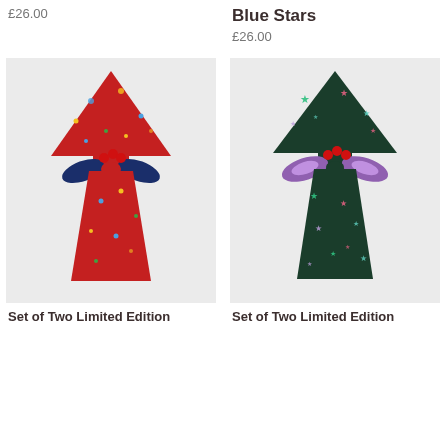£26.00
Blue Stars
£26.00
[Figure (photo): Gift wrapped in red floral Liberty print fabric with blue ribbon bow]
[Figure (photo): Gift wrapped in dark green star-print Liberty fabric with multicolor ribbon bow]
Set of Two Limited Edition
Set of Two Limited Edition